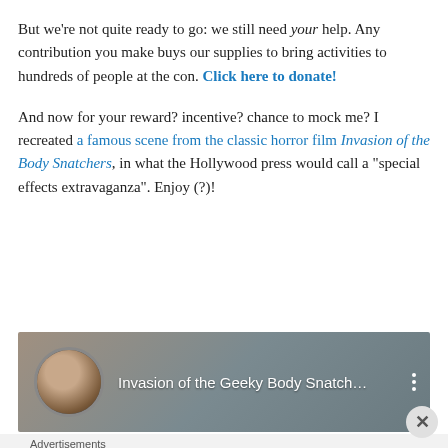But we're not quite ready to go: we still need your help. Any contribution you make buys our supplies to bring activities to hundreds of people at the con. Click here to donate!
And now for your reward? incentive? chance to mock me? I recreated a famous scene from the classic horror film Invasion of the Body Snatchers, in what the Hollywood press would call a "special effects extravaganza". Enjoy (?)!
[Figure (screenshot): YouTube video thumbnail showing a man with a hat and glasses, with title 'Invasion of the Geeky Body Snatch...']
Advertisements
[Figure (screenshot): Automattic advertisement: 'Build a better web and a better world.']